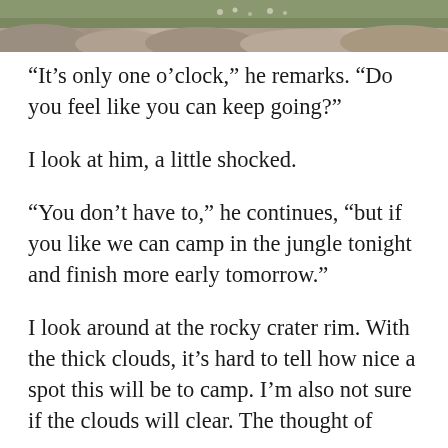[Figure (photo): Partial photograph of rocks and vegetation at top of page]
“It’s only one o’clock,” he remarks. “Do you feel like you can keep going?”
I look at him, a little shocked.
“You don’t have to,” he continues, “but if you like we can camp in the jungle tonight and finish more early tomorrow.”
I look around at the rocky crater rim. With the thick clouds, it’s hard to tell how nice a spot this will be to camp. I’m also not sure if the clouds will clear. The thought of